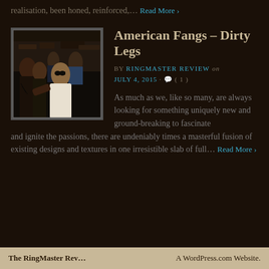realisation, been honed, reinforced,… Read More ›
American Fangs – Dirty Legs
BY RINGMASTER REVIEW on JULY 4, 2015 · 💬 ( 1 )
[Figure (photo): Band photo showing group of young men, one in white t-shirt in foreground]
As much as we, like so many, are always looking for something uniquely new and ground-breaking to fascinate and ignite the passions, there are undeniably times a masterful fusion of existing designs and textures in one irresistible slab of full… Read More ›
The RingMaster Rev…    A WordPress.com Website.